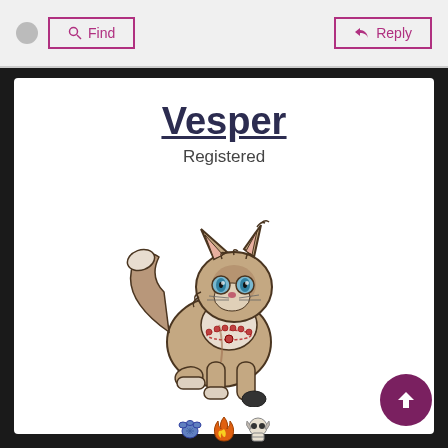Find | Reply
Vesper
Registered
[Figure (illustration): Cartoon wolf/cat character with beige and brown fur, blue eyes, wearing a beaded necklace, shown in a playful crouching pose with a fluffy tail]
TATTER-WINGED PHOENIX
CUNNING LINGUIST
Raze